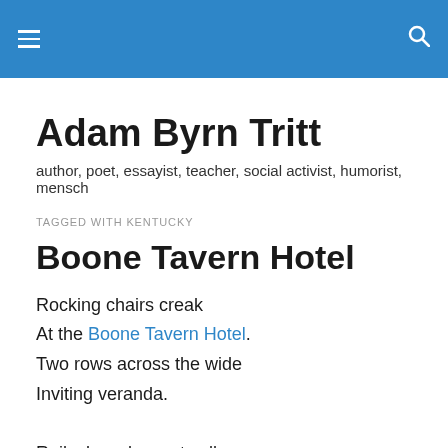≡  🔍
Adam Byrn Tritt
author, poet, essayist, teacher, social activist, humorist, mensch
TAGGED WITH KENTUCKY
Boone Tavern Hotel
Rocking chairs creak
At the Boone Tavern Hotel.
Two rows across the wide
Inviting veranda.

Rails, boards, seats all